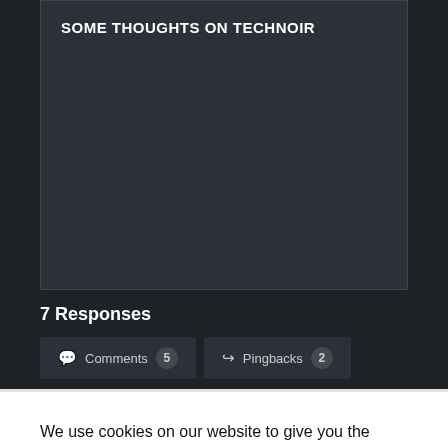SOME THOUGHTS ON TECHNOIR
7 Responses
Comments 5   Pingbacks 2
We use cookies on our website to give you the most relevant experience by remembering your preferences and repeat visits. By clicking “Accept”, you consent to the use of ALL the cookies.
Do not sell my personal information.
Cookie Settings   Accept